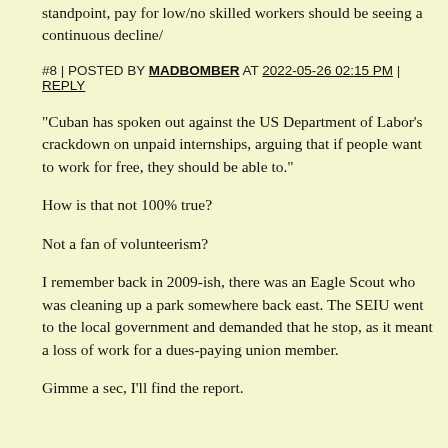standpoint, pay for low/no skilled workers should be seeing a continuous decline/
#8 | POSTED BY MADBOMBER AT 2022-05-26 02:15 PM | REPLY
"Cuban has spoken out against the US Department of Labor's crackdown on unpaid internships, arguing that if people want to work for free, they should be able to."
How is that not 100% true?
Not a fan of volunteerism?
I remember back in 2009-ish, there was an Eagle Scout who was cleaning up a park somewhere back east. The SEIU went to the local government and demanded that he stop, as it meant a loss of work for a dues-paying union member.
Gimme a sec, I'll find the report.